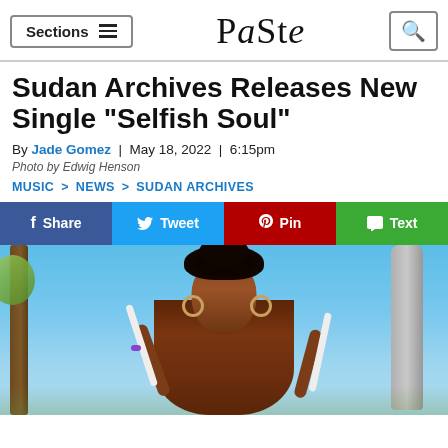Sections | Paste | [search]
Sudan Archives Releases New Single "Selfish Soul"
By Jade Gomez | May 18, 2022 | 6:15pm
Photo by Edwig Henson
MUSIC > NEWS > SUDAN ARCHIVES
f Share  Tweet  Pin  Text
[Figure (photo): Photo of Sudan Archives, a Black woman with an elaborate updo hairstyle, wearing hoop earrings, holding two white sticks, posed outdoors with palm trees and blue sky in background.]